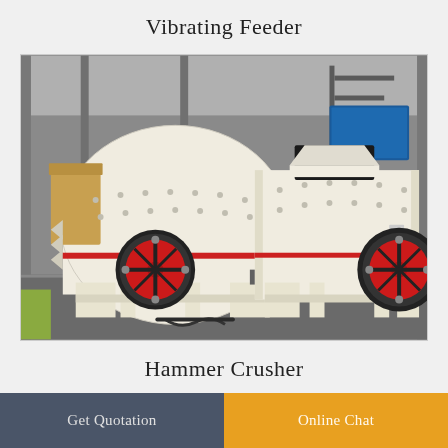Vibrating Feeder
[Figure (photo): Two large white and red hammer crusher machines with black flywheels in an industrial warehouse setting]
Hammer Crusher
Get Quotation
Online Chat